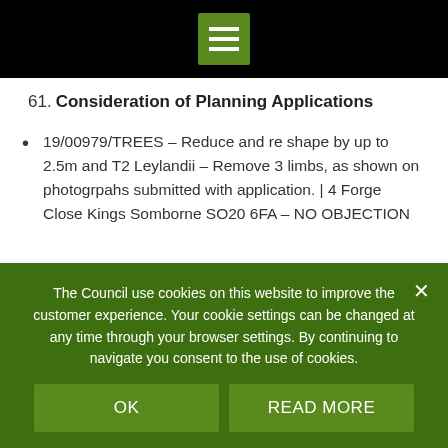[Figure (other): Black top navigation bar with green hamburger menu icon centered]
61. Consideration of Planning Applications
19/00979/TREES – Reduce and re shape by up to 2.5m and T2 Leylandii – Remove 3 limbs, as shown on photogrpahs submitted with application. | 4 Forge Close Kings Somborne SO20 6FA – NO OBJECTION
The Council use cookies on this website to improve the customer experience. Your cookie settings can be changed at any time through your browser settings. By continuing to navigate you consent to the use of cookies.